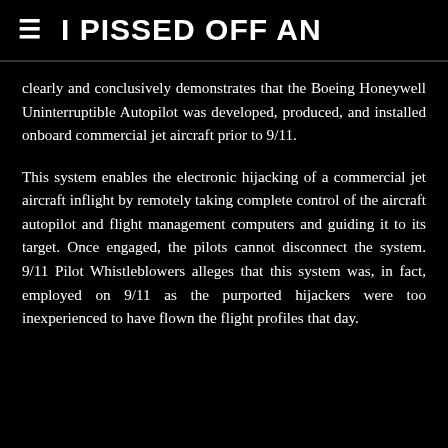I PISSED OFF AN
clearly and conclusively demonstrates that the Boeing Honeywell Uninterruptible Autopilot was developed, produced, and installed onboard commercial jet aircraft prior to 9/11.
This system enables the electronic hijacking of a commercial jet aircraft inflight by remotely taking complete control of the aircraft autopilot and flight management computers and guiding it to its target. Once engaged, the pilots cannot disconnect the system. 9/11 Pilot Whistleblowers alleges that this system was, in fact, employed on 9/11 as the purported hijackers were too inexperienced to have flown the flight profiles that day.